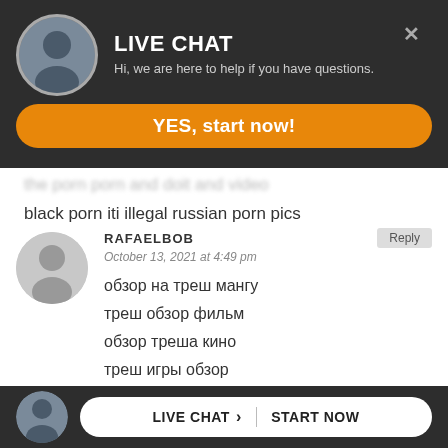[Figure (screenshot): Live chat banner with avatar photo of a man, title LIVE CHAT, subtitle text, close button X, and orange YES start now button]
the porn porn and doit and video
black porn iti illegal russian porn pics
RAFAELBOB
October 13, 2021 at 4:49 pm
Reply
обзор на треш мангу
треш обзор фильм
обзор треша кино
треш игры обзор
треш обзоры поворот не туда
[Figure (screenshot): Bottom bar with avatar photo of man and LIVE CHAT > START NOW button]